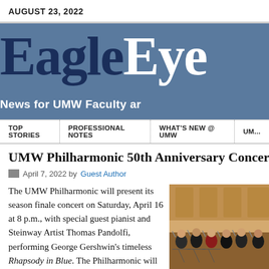AUGUST 23, 2022
[Figure (logo): EagleEye newsletter logo with tagline 'News for UMW Faculty ar...' on a steel-blue banner]
TOP STORIES | PROFESSIONAL NOTES | WHAT'S NEW @ UMW | UMW...
UMW Philharmonic 50th Anniversary Concert, A...
April 7, 2022 by Guest Author
The UMW Philharmonic will present its season finale concert on Saturday, April 16 at 8 p.m., with special guest pianist and Steinway Artist Thomas Pandolfi, performing George Gershwin's timeless Rhapsody in Blue. The Philharmonic will also present the world premiere of Brian Balmages's Through Waterless Places, commissioned by the Friends
[Figure (photo): Orchestra musicians playing string instruments on stage in a concert hall]